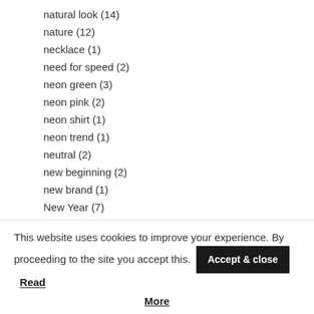natural look (14)
nature (12)
necklace (1)
need for speed (2)
neon green (3)
neon pink (2)
neon shirt (1)
neon trend (1)
neutral (2)
new beginning (2)
new brand (1)
New Year (7)
night shoot (1)
Nike (15)
no thank you (1)
This website uses cookies to improve your experience. By proceeding to the site you accept this. Accept & close Read More